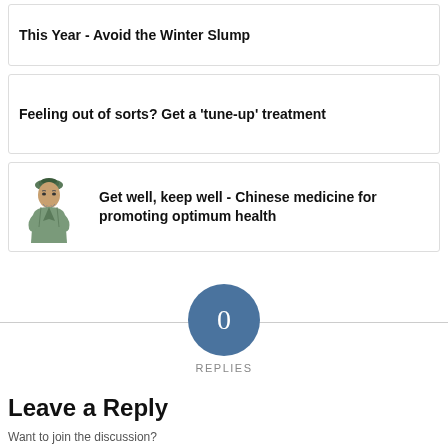This Year - Avoid the Winter Slump
Feeling out of sorts? Get a 'tune-up' treatment
[Figure (illustration): Illustration of a Chinese scholar/physician in traditional robes]
Get well, keep well - Chinese medicine for promoting optimum health
0
REPLIES
Leave a Reply
Want to join the discussion?
Feel free to contribute!